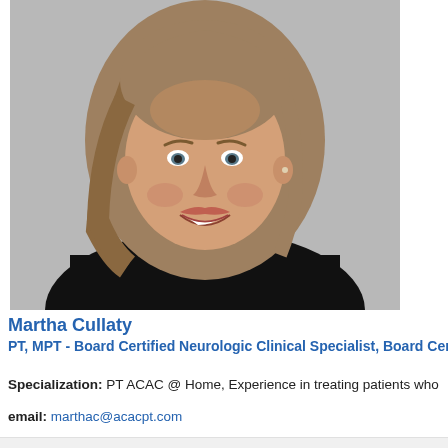[Figure (photo): Professional headshot of Martha Cullaty, a woman with shoulder-length blonde-gray hair, wearing a black top, smiling, against a light gray background.]
Martha Cullaty
PT, MPT - Board Certified Neurologic Clinical Specialist, Board Cer
Specialization: PT ACAC @ Home, Experience in treating patients who
email: marthac@acacpt.com